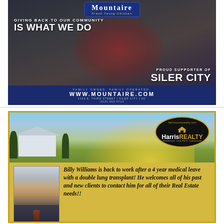[Figure (photo): Mountaire Farms advertisement showing a woman in a red jacket holding food items at a community event under a tent. Text overlay reads: GIVING BACK TO OUR COMMUNITY IS WHAT WE DO. PROUD SUPPORTER OF SILER CITY. Footer: FAMILY OWNED. FAMILY OPERATED. WWW.MOUNTAIRE.COM 1102 E. THIRD STREET | SILER CITY | NC (919) 663-0713]
[Figure (photo): Harris Realty advertisement with a farm background photo showing a barn at sunset. Features the Harris Realty oval logo. Photo of Billy Williams (man in suit). Text: Billy Williams is back to work after a 4 year medical leave with a double lung transplant! He welcomes all of his past and new clients to contact him for all of their Real Estate needs!!]